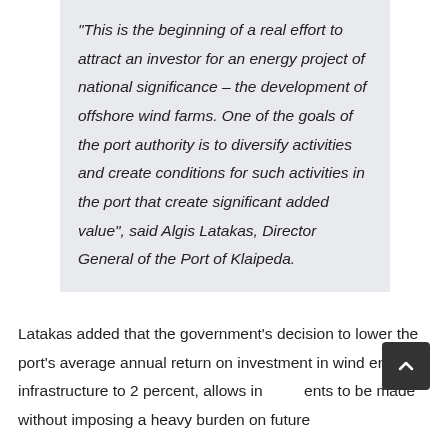“This is the beginning of a real effort to attract an investor for an energy project of national significance – the development of offshore wind farms. One of the goals of the port authority is to diversify activities and create conditions for such activities in the port that create significant added value”, said Algis Latakas, Director General of the Port of Klaipeda.
Latakas added that the government’s decision to lower the port’s average annual return on investment in wind energy infrastructure to 2 percent, allows investments to be made without imposing a heavy burden on future